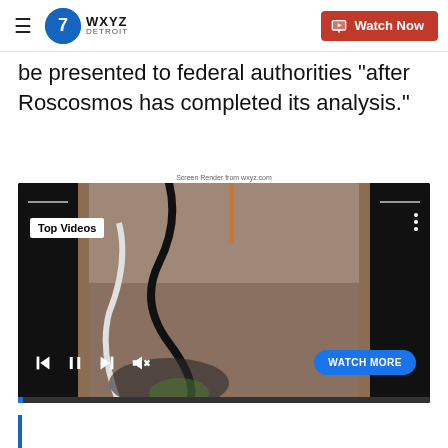WXYZ Detroit — Watch Now
be presented to federal authorities "after Roscosmos has completed its analysis."
Screen Render from wxyz.com
[Figure (screenshot): Embedded video player showing aerial footage of cracked road/pavement. Player has black side panels, 'Top Videos' label in top-left, three-dot menu in top-right, media controls (skip back, pause, skip forward, mute) at bottom-left, 'WATCH MORE' button at bottom-right, and a blue progress bar at the very bottom.]